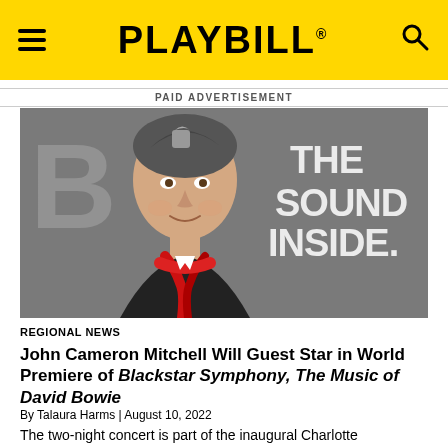PLAYBILL
PAID ADVERTISEMENT
[Figure (photo): Headshot of John Cameron Mitchell smiling at a red carpet event, with 'THE SOUND INSIDE' text visible in background]
REGIONAL NEWS
John Cameron Mitchell Will Guest Star in World Premiere of Blackstar Symphony, The Music of David Bowie
By Talaura Harms | August 10, 2022
The two-night concert is part of the inaugural Charlotte International Arts Festival in Charlotte, North Carolina.